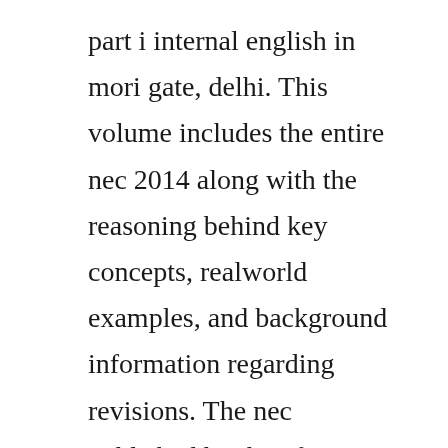part i internal english in mori gate, delhi. This volume includes the entire nec 2014 along with the reasoning behind key concepts, realworld examples, and background information regarding revisions. The nec published by the nfpa addresses the installation of electrical conductors, equipment, and raceways. May 05, 2014 a quick reference guide highlighting the 2014 changes in the national electrical code and the associated impact on engineers, contractors, and inspectors. National electrical codernec